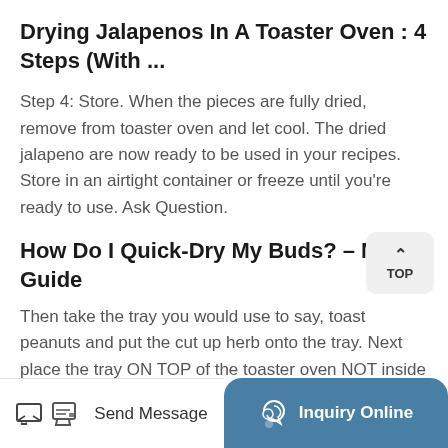Drying Jalapenos In A Toaster Oven : 4 Steps (With ...
Step 4: Store. When the pieces are fully dried, remove from toaster oven and let cool. The dried jalapeno are now ready to be used in your recipes. Store in an airtight container or freeze until you're ready to use. Ask Question.
How Do I Quick-Dry My Buds? – MJ Guide
Then take the tray you would use to say, toast peanuts and put the cut up herb onto the tray. Next place the tray ON TOP of the toaster oven NOT inside it! Turn the pieces of herb over every 5 minutes or so. This typically takes a good 20-30 minutes but is well worth the wait. When dried right the taste still isn't great, but its the best of
Send Message   Inquiry Online